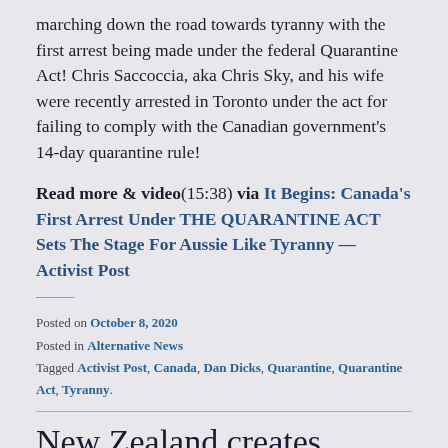marching down the road towards tyranny with the first arrest being made under the federal Quarantine Act! Chris Saccoccia, aka Chris Sky, and his wife were recently arrested in Toronto under the act for failing to comply with the Canadian government's 14-day quarantine rule!
Read more & video(15:38) via It Begins: Canada's First Arrest Under THE QUARANTINE ACT Sets The Stage For Aussie Like Tyranny — Activist Post
Posted on October 8, 2020
Posted in Alternative News
Tagged Activist Post, Canada, Dan Dicks, Quarantine, Quarantine Act, Tyranny.
New Zealand creates